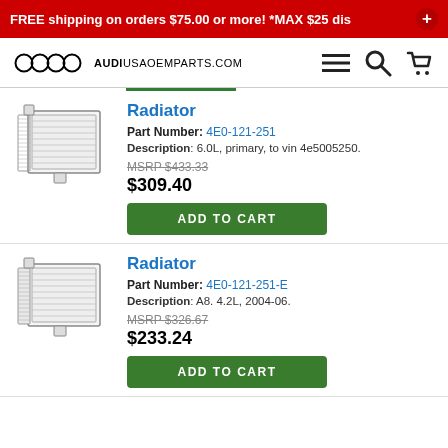FREE shipping on orders $75.00 or more! *MAX $25 dis
AUDIUSAOEMPARTS.COM
[Figure (logo): Audi four-ring logo]
Radiator
Part Number: 4E0-121-251
Description: 6.0L, primary, to vin 4e5005250.
MSRP $433.33
$309.40
[Figure (photo): Radiator part image - 4E0-121-251]
Radiator
Part Number: 4E0-121-251-E
Description: A8. 4.2L, 2004-06.
MSRP $326.67
$233.24
[Figure (photo): Radiator part image - 4E0-121-251-E]